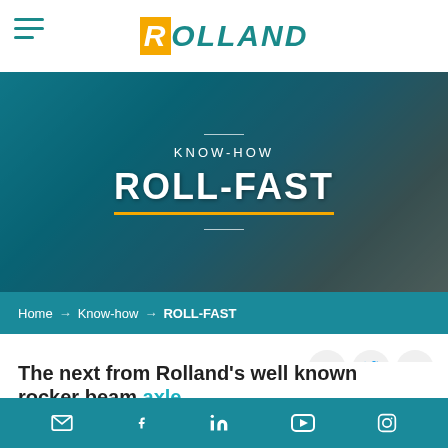[Figure (logo): Rolland company logo with teal/orange branding]
[Figure (photo): Hero banner image showing blue agricultural machinery (spreader axle/wheel detail) with text overlay: KNOW-HOW ROLL-FAST]
Home → Know-how → ROLL-FAST
Share on
The next from Rolland's well known rocker beam axle.
Available on Rollspeed, Rollroc or on Rollmax spreaders ranges.
Social media links: email, Facebook, LinkedIn, YouTube, Instagram